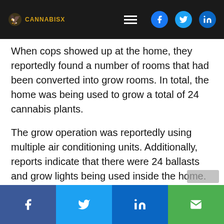CANNABISX (logo) | Navigation icons: hamburger menu, Facebook, Twitter, LinkedIn
When cops showed up at the home, they reportedly found a number of rooms that had been converted into grow rooms. In total, the home was being used to grow a total of 24 cannabis plants.
The grow operation was reportedly using multiple air conditioning units. Additionally, reports indicate that there were 24 ballasts and grow lights being used inside the home.
Ruiz does not live at the property. But he was reportedly linked to the property. And cops believe he was the one illegally growing weed and taking electricity.
Cops say they found property belonging to Ruiz in the home. This reportedly includes medication along...
Share buttons: Facebook, Twitter, LinkedIn, Email